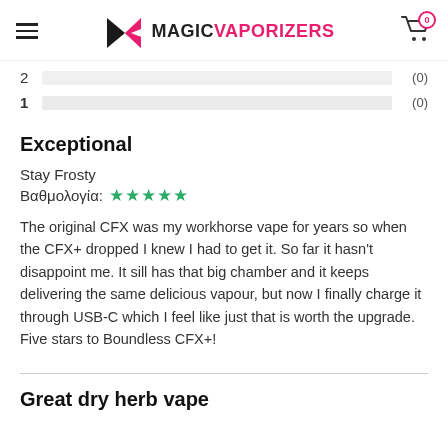Magic Vaporizers
2  (0)
1  (0)
Exceptional
Stay Frosty
Βαθμολογία: ★★★★★
The original CFX was my workhorse vape for years so when the CFX+ dropped I knew I had to get it. So far it hasn't disappoint me. It sill has that big chamber and it keeps delivering the same delicious vapour, but now I finally charge it through USB-C which I feel like just that is worth the upgrade. Five stars to Boundless CFX+!
Great dry herb vape